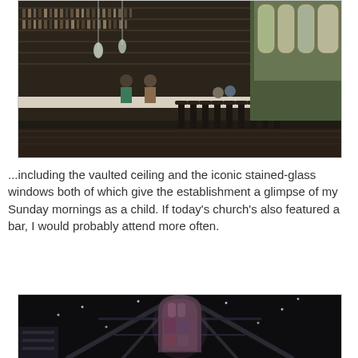[Figure (photo): Interior of a bar/restaurant converted from a church, showing a long bar counter with shelves of bottles, dark bar stools, patrons seated, and tall Gothic stained-glass windows on the right side letting in bright light.]
...including the vaulted ceiling and the iconic stained-glass windows both of which give the establishment a glimpse of my Sunday mornings as a child. If today's church's also featured a bar, I would probably attend more often.
[Figure (photo): Dark interior photo looking up at the vaulted ceiling of a converted church space, showing exposed beams and a Gothic arched stained-glass window glowing in the center background.]